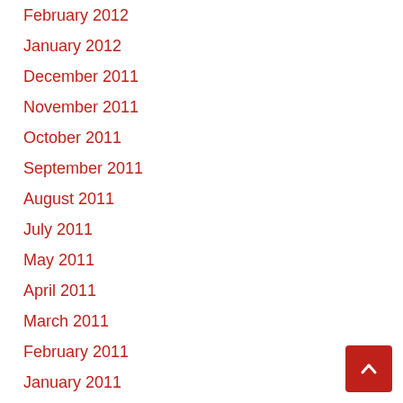February 2012
January 2012
December 2011
November 2011
October 2011
September 2011
August 2011
July 2011
May 2011
April 2011
March 2011
February 2011
January 2011